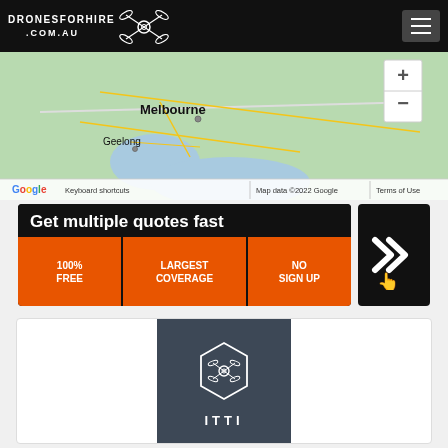DRONESFORHIRE.COM.AU
[Figure (map): Google Maps view showing Melbourne and Geelong areas in Victoria, Australia. Map includes zoom controls (+/-) and footer showing 'Keyboard shortcuts | Map data ©2022 Google | Terms of Use']
[Figure (infographic): Banner advertisement: 'Get multiple quotes fast' with three sub-sections: '100% FREE', 'LARGEST COVERAGE', 'NO SIGN UP' in orange and black, with a forward arrow button on the right]
[Figure (logo): ITTI company profile card with dark blue-grey background, hexagon drone logo icon, and company name 'ITTI' in white capital letters]